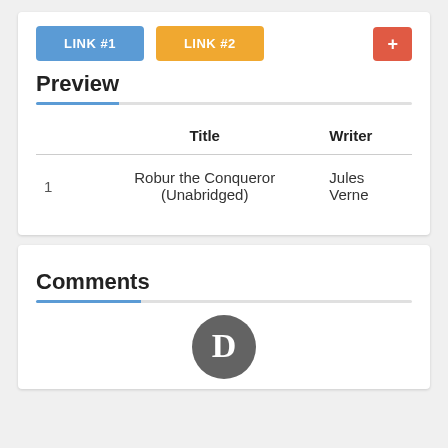[Figure (screenshot): Navigation buttons: blue LINK #1, orange LINK #2, and red + button]
Preview
|  | Title | Writer |
| --- | --- | --- |
| 1 | Robur the Conqueror (Unabridged) | Jules Verne |
Comments
[Figure (logo): Disqus circular grey logo with white D letter]